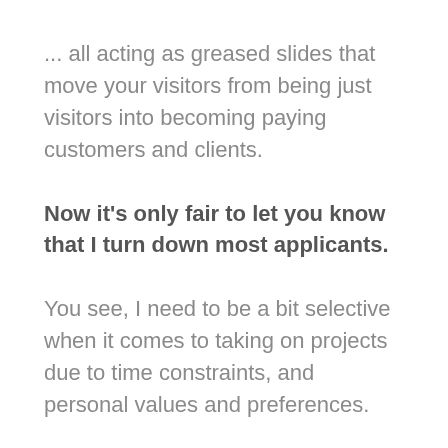... all acting as greased slides that move your visitors from being just visitors into becoming paying customers and clients.
Now it's only fair to let you know that I turn down most applicants.
You see, I need to be a bit selective when it comes to taking on projects due to time constraints, and personal values and preferences.